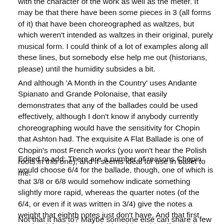with the character of the work as well as the meter. It may be that there have been some pieces in 3 (all forms of it) that have been choreographed as waltzes, but which weren't intended as waltzes in their original, purely musical form. I could think of a lot of examples along all these lines, but somebody else help me out (historians, please) until the humidity subsides a bit.
And although 'A Month in the Country' uses Andante Spianato and Grande Polonaise, that easily demonstrates that any of the ballades could be used effectively, although I don't know if anybody currently choreographing would have the sensitivity for Chopin that Ashton had. The exquisite A Flat Ballade is one of Chopin's most French works (you won't hear the Polish roots in this one), and it seems ideal for use in ballet to me.
Edited to add: There are a number of reasons Chopin would choose 6/4 for the ballade, though, one of which is that 3/8 or 6/8 would somehow indicate something slightly more rapid, whereas the quarter notes (of the 6/4, or even if it was written in 3/4) give the notes a weight that eighth notes just don't have. And that first section (after the muscular intro) is nothing if not sober and very serious.
Not that it has to? Maybe someone else can share a few examples of it